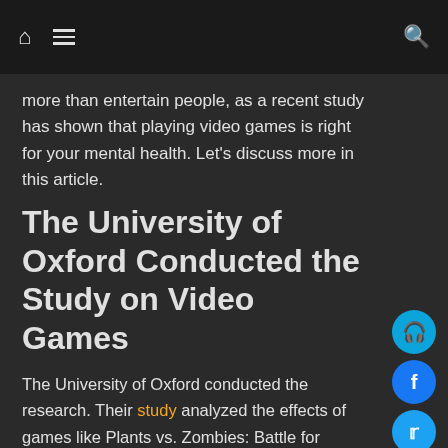Home | Menu | Search
more than entertain people, as a recent study has shown that playing video games is right for your mental health. Let's discuss more in this article.
The University of Oxford Conducted the Study on Video Games
The University of Oxford conducted the research. Their study analyzed the effects of games like Plants vs. Zombies: Battle for Neighborville from Electronic Arts and Nintendo's Animal Crossing: New Horizons. And their results showed that players who spent time playing video games felt happier.